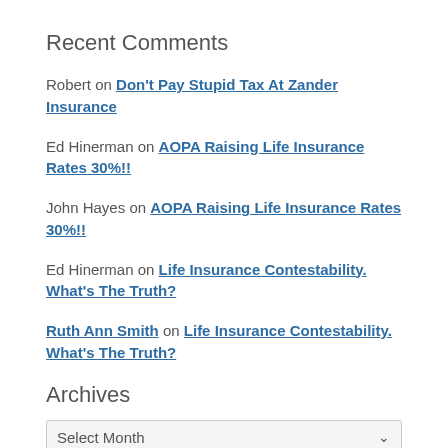Recent Comments
Robert on Don't Pay Stupid Tax At Zander Insurance
Ed Hinerman on AOPA Raising Life Insurance Rates 30%!!
John Hayes on AOPA Raising Life Insurance Rates 30%!!
Ed Hinerman on Life Insurance Contestability. What's The Truth?
Ruth Ann Smith on Life Insurance Contestability. What's The Truth?
Archives
Select Month